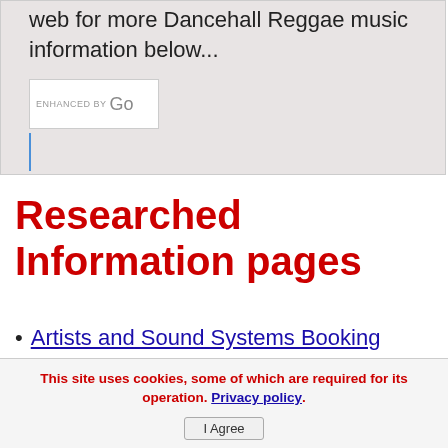web for more Dancehall Reggae music information below...
[Figure (screenshot): Google enhanced search widget with text input box]
Researched Information pages
Artists and Sound Systems Booking Information
This site uses cookies, some of which are required for its operation. Privacy policy. I Agree